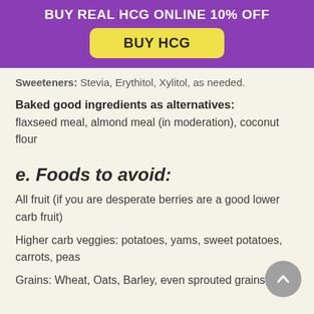BUY REAL HCG ONLINE 10% OFF
BUY HCG
Sweeteners: Stevia, Erythitol, Xylitol, as needed.
Baked good ingredients as alternatives:
flaxseed meal, almond meal (in moderation), coconut flour
e. Foods to avoid:
All fruit (if you are desperate berries are a good lower carb fruit)
Higher carb veggies: potatoes, yams, sweet potatoes, carrots, peas
Grains: Wheat, Oats, Barley, even sprouted grains, rice,